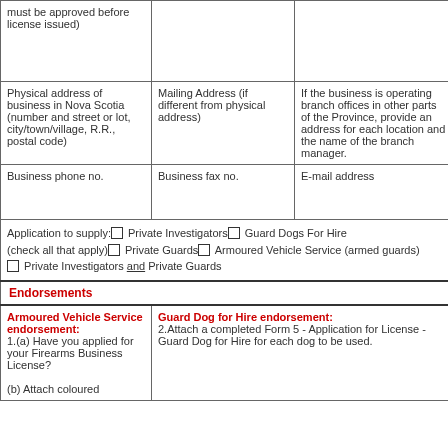| must be approved before license issued) |  |  |
| Physical address of business in Nova Scotia (number and street or lot, city/town/village, R.R., postal code) | Mailing Address (if different from physical address) | If the business is operating branch offices in other parts of the Province, provide an address for each location and the name of the branch manager. |
| Business phone no. | Business fax no. | E-mail address |
| Application to supply: □ Private Investigators □ Guard Dogs For Hire (check all that apply) □ Private Guards □ Armoured Vehicle Service (armed guards) □ Private Investigators and Private Guards |  |  |
Endorsements
| Armoured Vehicle Service endorsement: 1.(a) Have you applied for your Firearms Business License?

(b) Attach coloured | Guard Dog for Hire endorsement: 2.Attach a completed Form 5 - Application for License - Guard Dog for Hire for each dog to be used. |